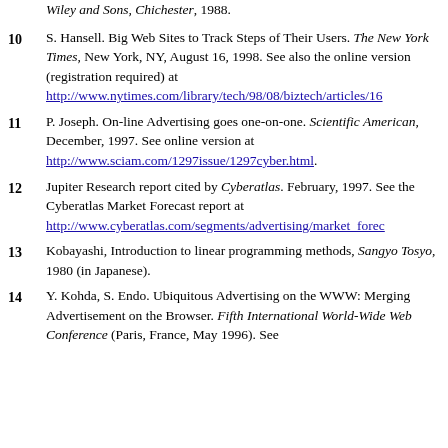Wiley and Sons, Chichester, 1988.
10  S. Hansell. Big Web Sites to Track Steps of Their Users. The New York Times, New York, NY, August 16, 1998. See also the online version (registration required) at http://www.nytimes.com/library/tech/98/08/biztech/articles/16...
11  P. Joseph. On-line Advertising goes one-on-one. Scientific American, December, 1997. See online version at http://www.sciam.com/1297issue/1297cyber.html.
12  Jupiter Research report cited by Cyberatlas. February, 1997. See the Cyberatlas Market Forecast report at http://www.cyberatlas.com/segments/advertising/market_forec...
13  Kobayashi, Introduction to linear programming methods, Sangyo Tosyo, 1980 (in Japanese).
14  Y. Kohda, S. Endo. Ubiquitous Advertising on the WWW: Merging Advertisement on the Browser. Fifth International World-Wide Web Conference (Paris, France, May 1996). See